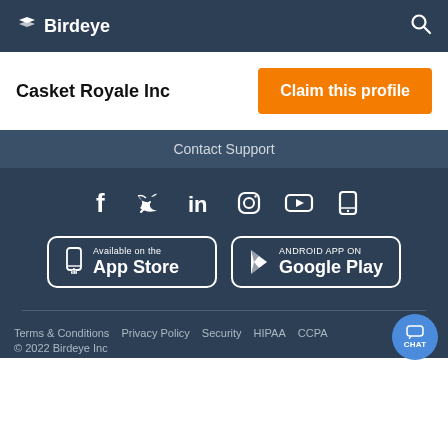Birdeye
Casket Royale Inc
Claim this profile
Contact Support
[Figure (infographic): Social media icons: Facebook, Twitter, LinkedIn, Instagram, YouTube, and a mobile/app icon]
[Figure (infographic): Available on the App Store button and Android App on Google Play button]
Terms & Conditions  Privacy Policy  Security  HIPAA  CCPA
© 2022 Birdeye Inc